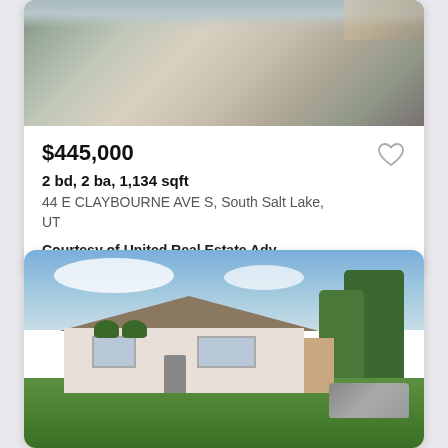[Figure (photo): Aerial or top-down view of a driveway with tree shadows]
$445,000
2 bd, 2 ba, 1,134 sqft
44 E CLAYBOURNE AVE S, South Salt Lake, UT
Courtesy of United Real Estate Adv...
[Figure (photo): Front exterior photo of a single-story ranch home with green lawn, trees to the right, and cars in the driveway. Blue sky with clouds in background.]